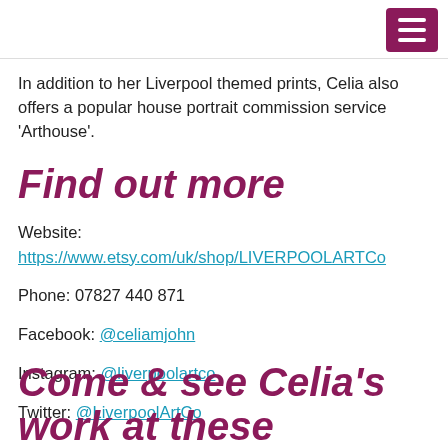In addition to her Liverpool themed prints, Celia also offers a popular house portrait commission service 'Arthouse'.
Find out more
Website: https://www.etsy.com/uk/shop/LIVERPOOLARTCo
Phone: 07827 440 871
Facebook: @celiamjohn
Instagram: @liverpoolartco
Twitter: @LiverpoolArtCo
Come & see Celia's work at these